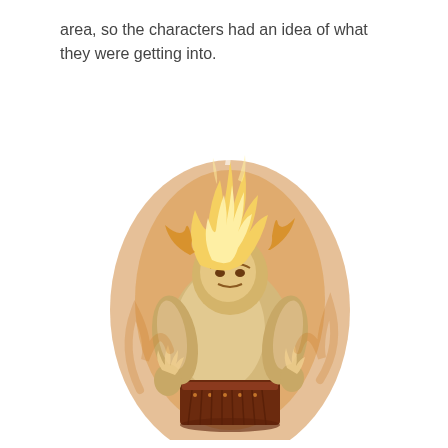area, so the characters had an idea of what they were getting into.
[Figure (illustration): Fantasy illustration of a large humanoid figure wreathed in golden-orange flames, with a muscular stone-like body, wearing a studded leather skirt/kilt. The figure's head is engulfed in fire with a fierce face visible within the flames. The overall color palette is warm amber, gold, and brown.]